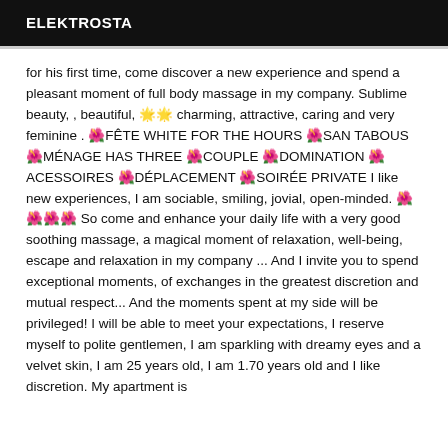ELEKTROSTA
for his first time, come discover a new experience and spend a pleasant moment of full body massage in my company. Sublime beauty, , beautiful, 🌟🌟 charming, attractive, caring and very feminine . 🌺FÊTE WHITE FOR THE HOURS 🌺SAN TABOUS 🌺MÉNAGE HAS THREE 🌺COUPLE 🌺DOMINATION 🌺ACESSOIRES 🌺DÉPLACEMENT 🌺SOIRÉE PRIVATE I like new experiences, I am sociable, smiling, jovial, open-minded. 🌺🌺🌺🌺 So come and enhance your daily life with a very good soothing massage, a magical moment of relaxation, well-being, escape and relaxation in my company ... And I invite you to spend exceptional moments, of exchanges in the greatest discretion and mutual respect... And the moments spent at my side will be privileged! I will be able to meet your expectations, I reserve myself to polite gentlemen, I am sparkling with dreamy eyes and a velvet skin, I am 25 years old, I am 1.70 years old and I like discretion. My apartment is